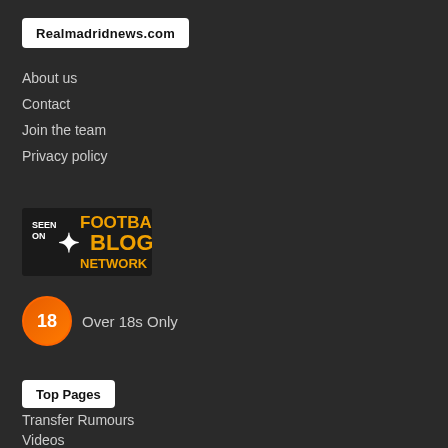Realmadridnews.com
About us
Contact
Join the team
Privacy policy
[Figure (logo): Seen on Football Blog Network badge logo with orange text]
[Figure (infographic): Orange circle with number 18 indicating Over 18s Only age restriction badge]
Over 18s Only
Top Pages
Transfer Rumours
Videos